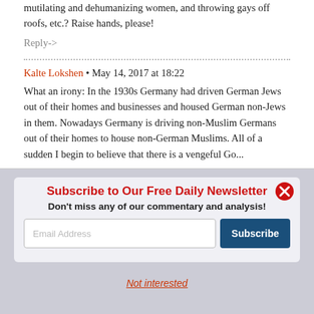mutilating and dehumanizing women, and throwing gays off roofs, etc.? Raise hands, please!
Reply->
Kalte Lokshen • May 14, 2017 at 18:22
What an irony: In the 1930s Germany had driven German Jews out of their homes and businesses and housed German non-Jews in them. Nowadays Germany is driving non-Muslim Germans out of their homes to house non-German Muslims. All of a sudden I begin to believe that there is a vengeful Go...
[Figure (screenshot): Newsletter subscription modal popup with title 'Subscribe to Our Free Daily Newsletter', subtitle 'Don't miss any of our commentary and analysis!', an email input field, a Subscribe button, a close X button, and a 'Not interested' link at the bottom.]